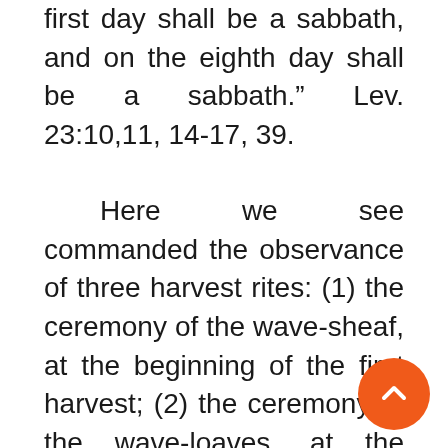first day shall be a sabbath, and on the eighth day shall be a sabbath." Lev. 23:10,11, 14-17, 39.
Here we see commanded the observance of three harvest rites: (1) the ceremony of the wave-sheaf, at the beginning of the first harvest; (2) the ceremony of the wave-loaves, at the close of the first harvest; and (3) the feast of tabernacles at the close of the second harvest. Being typical, these two grain harvests with their three literal sacraments, accordingly foresha[dowed] two soul harvests with three spiri[tual]